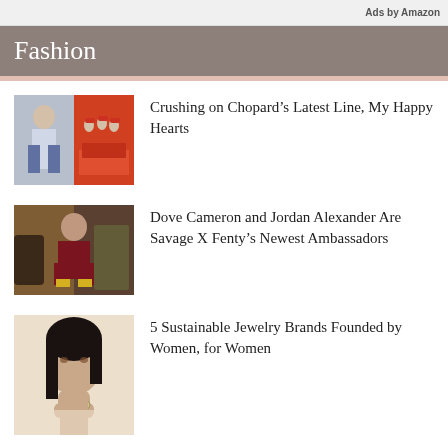Ads by Amazon
Fashion
Crushing on Chopard’s Latest Line, My Happy Hearts
[Figure (photo): Two side-by-side photos: a woman in casual clothing, and a close-up of red sneakers with painted fingernails]
Dove Cameron and Jordan Alexander Are Savage X Fenty’s Newest Ambassadors
[Figure (photo): A woman in dark red/maroon outfit sitting in a moody room]
5 Sustainable Jewelry Brands Founded by Women, for Women
[Figure (photo): Close-up portrait of a dark-haired woman with her hand near her face]